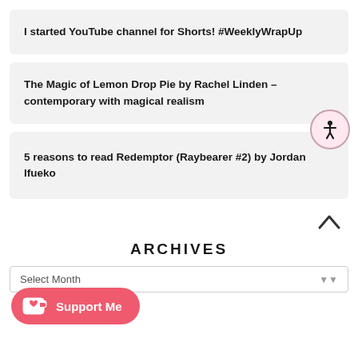I started YouTube channel for Shorts! #WeeklyWrapUp
The Magic of Lemon Drop Pie by Rachel Linden – contemporary with magical realism
5 reasons to read Redemptor (Raybearer #2) by Jordan Ifueko
ARCHIVES
Select Month
Support Me